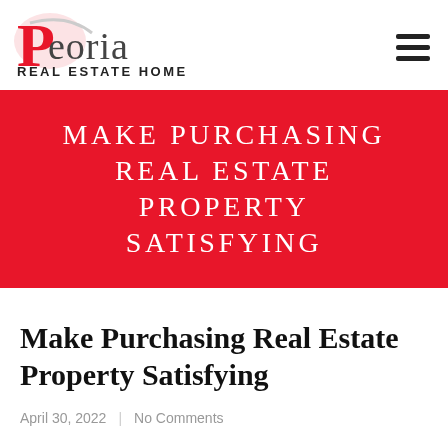Peoria REAL ESTATE HOMES
MAKE PURCHASING REAL ESTATE PROPERTY SATISFYING
Make Purchasing Real Estate Property Satisfying
April 30, 2022  |  No Comments